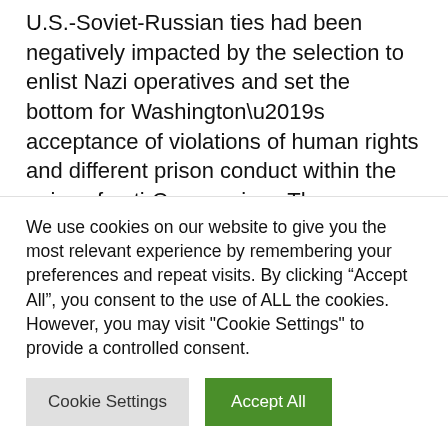U.S.-Soviet-Russian ties had been negatively impacted by the selection to enlist Nazi operatives and set the bottom for Washington’s acceptance of violations of human rights and different prison conduct within the guise of anti-Communism. The CIA’s anti-democratic actions internationally started with that disastrous embrace of former Nazis.
So, what’s going on with the CIA in Ukraine? In
We use cookies on our website to give you the most relevant experience by remembering your preferences and repeat visits. By clicking “Accept All”, you consent to the use of ALL the cookies. However, you may visit "Cookie Settings" to provide a controlled consent.